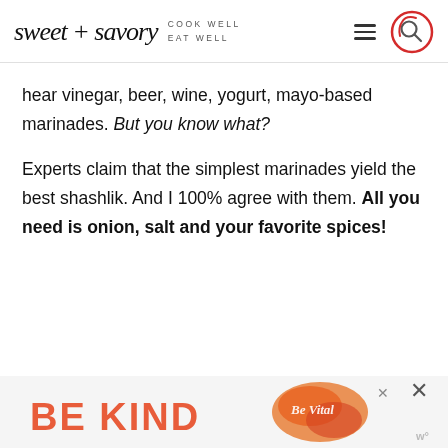sweet + savory | COOK WELL EAT WELL
hear vinegar, beer, wine, yogurt, mayo-based marinades. But you know what?
Experts claim that the simplest marinades yield the best shashlik. And I 100% agree with them. All you need is onion, salt and your favorite spices!
[Figure (other): BE KIND advertisement banner with colorful illustrated logo and close buttons]